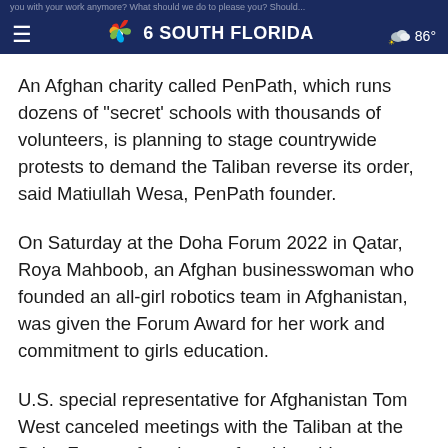NBC 6 South Florida | 86°
An Afghan charity called PenPath, which runs dozens of "secret' schools with thousands of volunteers, is planning to stage countrywide protests to demand the Taliban reverse its order, said Matiullah Wesa, PenPath founder.
On Saturday at the Doha Forum 2022 in Qatar, Roya Mahboob, an Afghan businesswoman who founded an all-girl robotics team in Afghanistan, was given the Forum Award for her work and commitment to girls education.
U.S. special representative for Afghanistan Tom West canceled meetings with the Taliban at the Doha Forum after classes for older girls were halted.